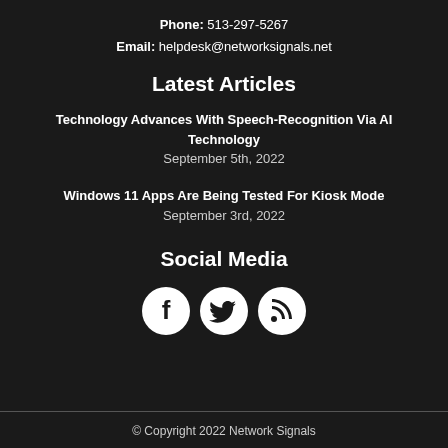Phone: 513-297-5267
Email: helpdesk@networksignals.net
Latest Articles
Technology Advances With Speech-Recognition Via AI Technology
September 5th, 2022
Windows 11 Apps Are Being Tested For Kiosk Mode
September 3rd, 2022
Social Media
[Figure (illustration): Three circular social media icons: Facebook, Twitter, RSS feed]
© Copyright 2022 Network Signals